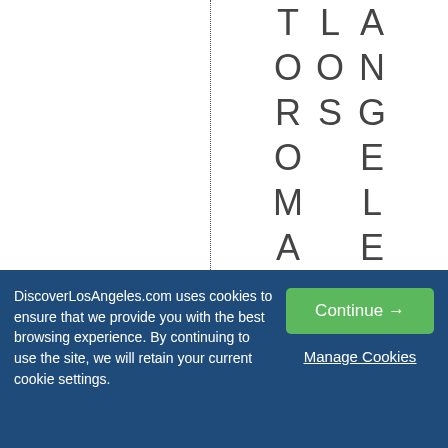[Figure (other): Vertical text reading 'TOROMANTIC LOS ANGELES' arranged letter by letter top to bottom on right side of page, with a dotted vertical dividing line in the center]
DiscoverLosAngeles.com uses cookies to ensure that we provide you with the best browsing experience. By continuing to use the site, we will retain your current cookie settings.
Continue →
Manage Cookies